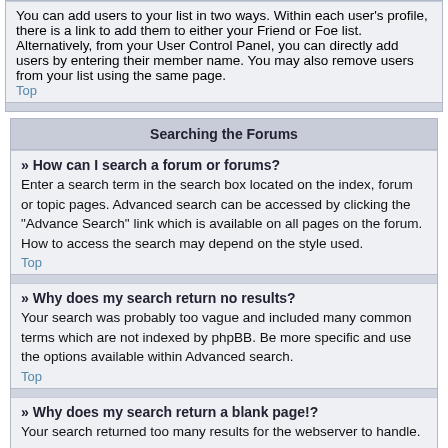You can add users to your list in two ways. Within each user’s profile, there is a link to add them to either your Friend or Foe list. Alternatively, from your User Control Panel, you can directly add users by entering their member name. You may also remove users from your list using the same page.
Top
Searching the Forums
» How can I search a forum or forums?
Enter a search term in the search box located on the index, forum or topic pages. Advanced search can be accessed by clicking the “Advance Search” link which is available on all pages on the forum. How to access the search may depend on the style used.
Top
» Why does my search return no results?
Your search was probably too vague and included many common terms which are not indexed by phpBB. Be more specific and use the options available within Advanced search.
Top
» Why does my search return a blank page!?
Your search returned too many results for the webserver to handle.